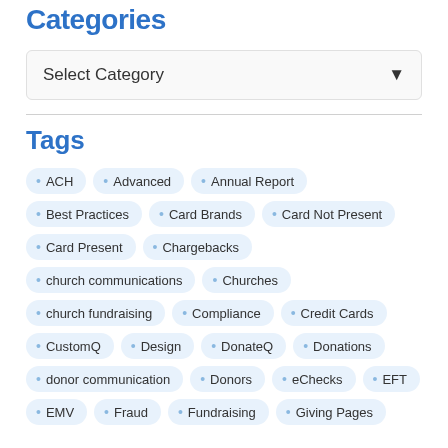Categories
Select Category
Tags
ACH
Advanced
Annual Report
Best Practices
Card Brands
Card Not Present
Card Present
Chargebacks
church communications
Churches
church fundraising
Compliance
Credit Cards
CustomQ
Design
DonateQ
Donations
donor communication
Donors
eChecks
EFT
EMV
Fraud
Fundraising
Giving Pages